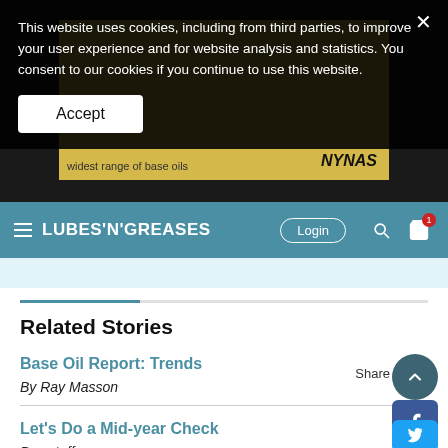This website uses cookies, including from third parties, to improve your user experience and for website analysis and statistics. You consent to our cookies if you continue to use this website.
Accept
LUBES'N'GREASES — Login
Related Stories
Base Oil Report: Trends
By Ray Masson
Let's Do a Mid-year Check
By estaff